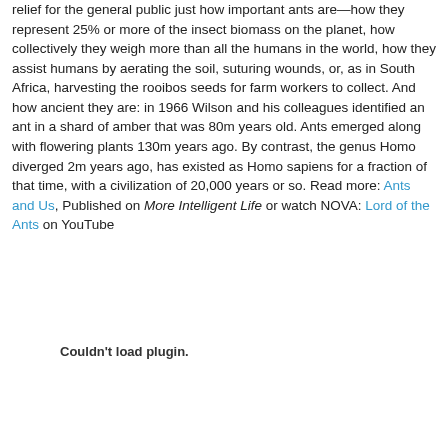relief for the general public just how important ants are—how they represent 25% or more of the insect biomass on the planet, how collectively they weigh more than all the humans in the world, how they assist humans by aerating the soil, suturing wounds, or, as in South Africa, harvesting the rooibos seeds for farm workers to collect. And how ancient they are: in 1966 Wilson and his colleagues identified an ant in a shard of amber that was 80m years old. Ants emerged along with flowering plants 130m years ago. By contrast, the genus Homo diverged 2m years ago, has existed as Homo sapiens for a fraction of that time, with a civilization of 20,000 years or so. Read more: Ants and Us, Published on More Intelligent Life or watch NOVA: Lord of the Ants on YouTube
Couldn't load plugin.